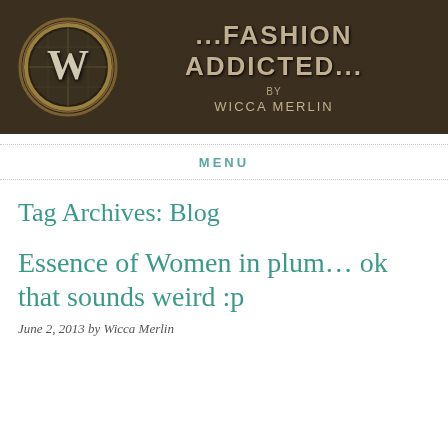[Figure (screenshot): Blog banner with dark brown background, a circular 'W' logo on the left, and text '...FASHION ADDICTED... BY WICCA MERLIN' in metallic style on the right]
MENU
Tag Archives: Blog
Essence of Women in plum… ok that sounds weird :p
June 2, 2013 by Wicca Merlin